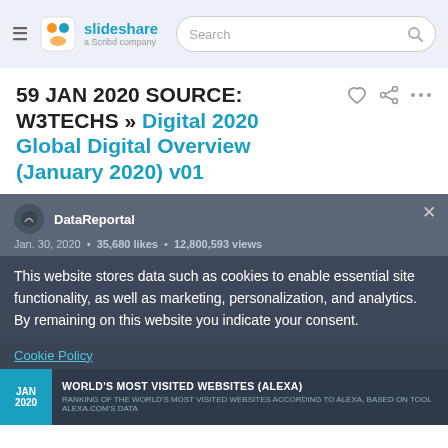slideshare a Scribd company | Search
59 JAN 2020 SOURCE: W3TECHS » Digital 2020 Global Digital Overview (January 2020) v01
DataReportal
Jan. 30, 2020 · 35,680 likes · 12,800,593 views
This website stores data such as cookies to enable essential site functionality, as well as marketing, personalization, and analytics. By remaining on this website you indicate your consent.
Cookie Policy
JAN 2020 WORLD'S MOST VISITED WEBSITES (ALEXA)